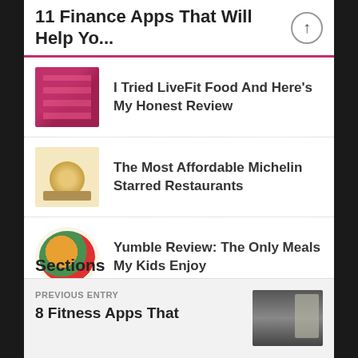11 Finance Apps That Will Help Yo...
I Tried LiveFit Food And Here's My Honest Review
The Most Affordable Michelin Starred Restaurants
Yumble Review: The Only Meals My Kids Enjoy
Sections
Select Category
PREVIOUS ENTRY
8 Fitness Apps That